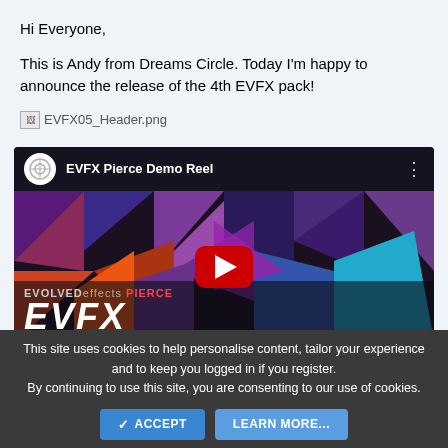Hi Everyone,
This is Andy from Dreams Circle. Today I'm happy to announce the release of the 4th EVFX pack!
[Figure (other): Broken image placeholder showing EVFX05_Header.png]
[Figure (screenshot): YouTube video embed thumbnail for 'EVFX Pierce Demo Reel' showing colorful triangular geometric art with EVOLVEDEFFECTS PIERCE EVFX branding and a red YouTube play button]
This site uses cookies to help personalise content, tailor your experience and to keep you logged in if you register.
By continuing to use this site, you are consenting to our use of cookies.
ACCEPT   LEARN MORE...